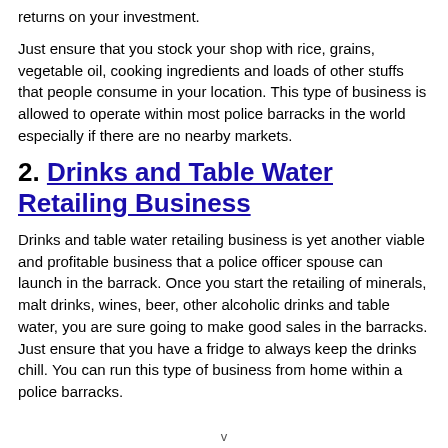returns on your investment.
Just ensure that you stock your shop with rice, grains, vegetable oil, cooking ingredients and loads of other stuffs that people consume in your location. This type of business is allowed to operate within most police barracks in the world especially if there are no nearby markets.
2. Drinks and Table Water Retailing Business
Drinks and table water retailing business is yet another viable and profitable business that a police officer spouse can launch in the barrack. Once you start the retailing of minerals, malt drinks, wines, beer, other alcoholic drinks and table water, you are sure going to make good sales in the barracks. Just ensure that you have a fridge to always keep the drinks chill. You can run this type of business from home within a police barracks.
v